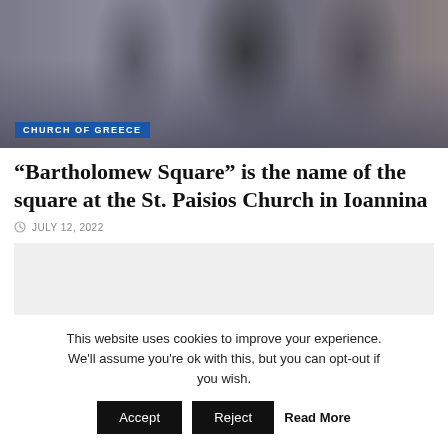[Figure (photo): Group of clergy and officials at a church ceremony, dark robes visible against a crowd background]
CHURCH OF GREECE
“Bartholomew Square” is the name of the square at the St. Paisios Church in Ioannina
JULY 12, 2022
This website uses cookies to improve your experience. We'll assume you're ok with this, but you can opt-out if you wish. Accept Reject Read More